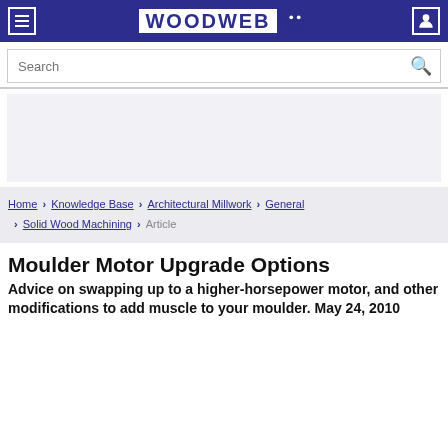WOODWEB
Search
Home › Knowledge Base › Architectural Millwork › General › Solid Wood Machining › Article
Moulder Motor Upgrade Options
Advice on swapping up to a higher-horsepower motor, and other modifications to add muscle to your moulder. May 24, 2010